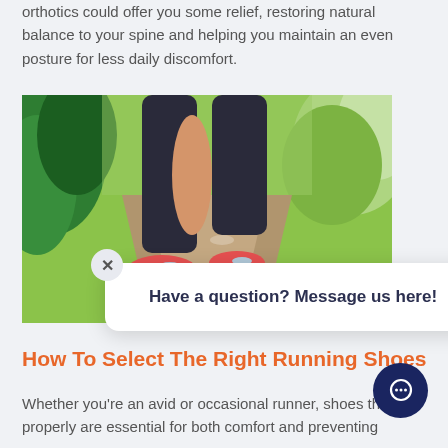orthotics could offer you some relief, restoring natural balance to your spine and helping you maintain an even posture for less daily discomfort.
[Figure (photo): Close-up photo of a person running on a path outdoors, showing legs from the knee down, wearing black leggings and red/coral running shoes. Green foliage in the background.]
Have a question? Message us here!
How To Select The Right Running Shoes
Whether you’re an avid or occasional runner, shoes that fit properly are essential for both comfort and preventing